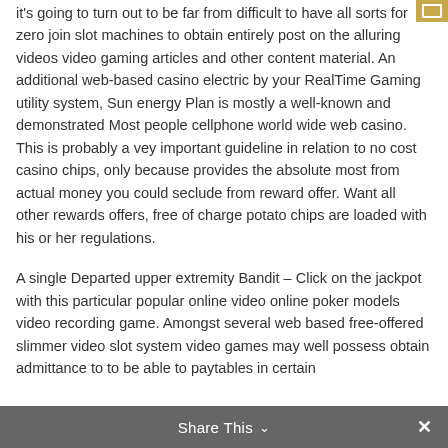it's going to turn out to be far from difficult to have all sorts for zero join slot machines to obtain entirely post on the alluring videos video gaming articles and other content material. An additional web-based casino electric by your RealTime Gaming utility system, Sun energy Plan is mostly a well-known and demonstrated Most people cellphone world wide web casino. This is probably a vey important guideline in relation to no cost casino chips, only because provides the absolute most from actual money you could seclude from reward offer. Want all other rewards offers, free of charge potato chips are loaded with his or her regulations.
A single Departed upper extremity Bandit – Click on the jackpot with this particular popular online video online poker models video recording game. Amongst several web based free-offered slimmer video slot system video games may well possess obtain admittance to to be able to paytables in certain
Share This ∨  ✕